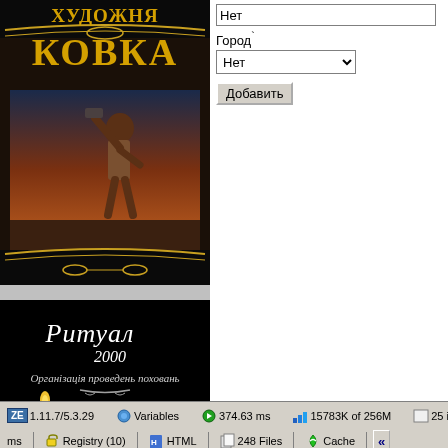[Figure (illustration): Художня Ковка advertisement banner - dark background with decorative Cyrillic text 'ХУДОЖНЯ КОВКА' in gold/yellow on top, ornamental gold borders, and a figure of a blacksmith striking with hammer against a dramatic sunset sky]
[Figure (illustration): Ritual 2000 advertisement banner - black background with white cursive Cyrillic text 'Ритуал 2000', subtitle 'Організація проведень поховань', decorative scroll ornament, a burning candle, green leaves, and a red rose]
Нет
Город`
Нет
Добавить
ZE 1.11.7/5.3.29 | Variables | 374.63 ms | 15783K of 256M | 25 in 9.58 ms | Registry (10) | HTML | 248 Files | Cache | «